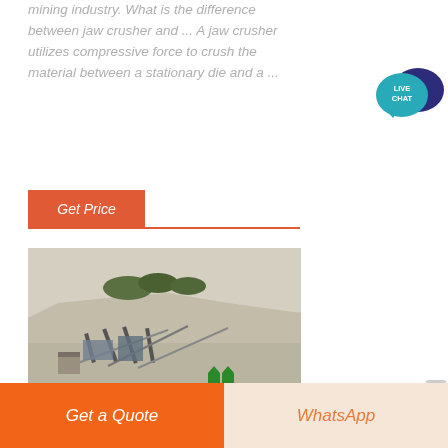mining industry. What is the difference between jaw crusher and ... A jaw crusher utilizes compressive force to crush the material between a stationary die and a ...
Get Price
[Figure (photo): Aerial view of a quarry/mining site with large rocky cliff, crushing and screening equipment, conveyor belts, and machinery in an open-pit mining operation.]
[Figure (other): Live Chat widget with speech bubble icon in teal and dark blue.]
Get a Quote
WhatsApp